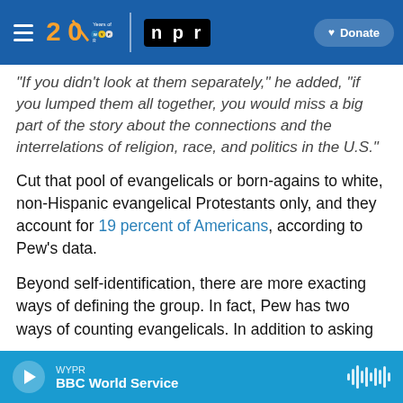[Figure (screenshot): WYPR 20 Years of WYPR logo with NPR logo and Donate button on blue navigation bar]
"If you didn't look at them separately," he added, "if you lumped them all together, you would miss a big part of the story about the connections and the interrelations of religion, race, and politics in the U.S."
Cut that pool of evangelicals or born-agains to white, non-Hispanic evangelical Protestants only, and they account for 19 percent of Americans, according to Pew's data.
Beyond self-identification, there are more exacting ways of defining the group. In fact, Pew has two ways of counting evangelicals. In addition to asking
[Figure (screenshot): WYPR audio player bar showing BBC World Service program with play button and waveform icon]